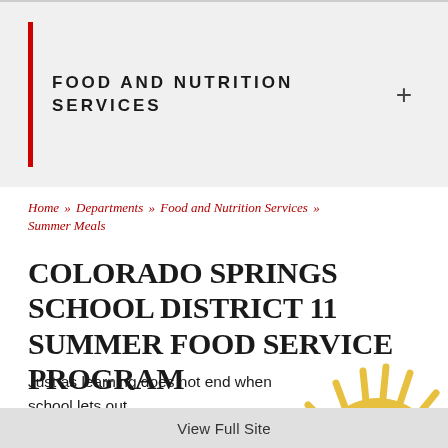FOOD AND NUTRITION SERVICES
Home » Departments » Food and Nutrition Services » Summer Meals
COLORADO SPRINGS SCHOOL DISTRICT 11 SUMMER FOOD SERVICE PROGRAM
Just as learning does not end when school lets out,
[Figure (illustration): Sun illustration with rays, partially visible at bottom right, with District 11 logo in the center]
View Full Site